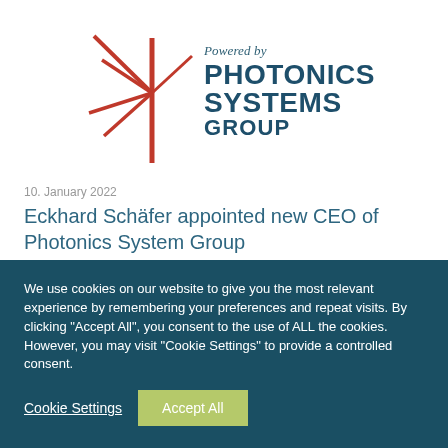[Figure (logo): Photonics Systems Group logo with red starburst/laser beam icon on the left and teal bold text 'PHOTONICS SYSTEMS GROUP' on the right, with italic 'Powered by' above]
10. January 2022
Eckhard Schäfer appointed new CEO of Photonics System Group
We use cookies on our website to give you the most relevant experience by remembering your preferences and repeat visits. By clicking "Accept All", you consent to the use of ALL the cookies. However, you may visit "Cookie Settings" to provide a controlled consent.
Cookie Settings
Accept All